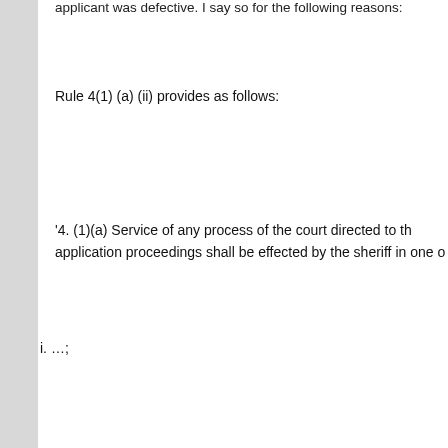applicant was defective. I say so for the following reasons:
Rule 4(1) (a) (ii) provides as follows:
'4. (1)(a) Service of any process of the court directed to the application proceedings shall be effected by the sheriff in one of
i. …;